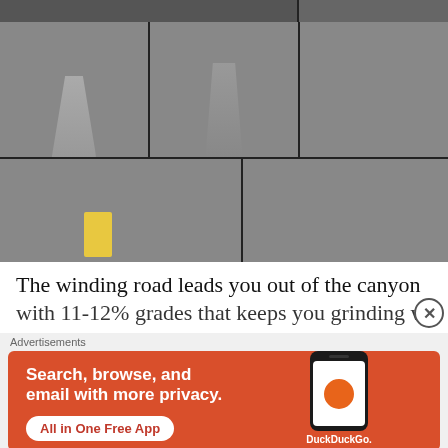[Figure (photo): Photo grid showing 5 road/nature photos: top strip (partially visible), middle row with two road-through-trees photos and a yellow building, bottom row with a cyclist on a road and green hillside landscape]
The winding road leads you out of the canyon
Advertisements
[Figure (other): DuckDuckGo advertisement banner with orange background. Text: 'Search, browse, and email with more privacy. All in One Free App'. Shows DuckDuckGo logo and phone mockup.]